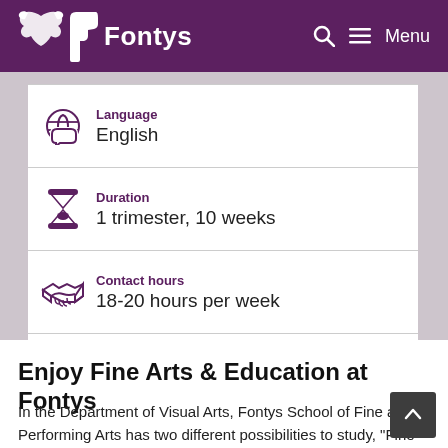Fontys — Menu
Language
English
Duration
1 trimester, 10 weeks
Contact hours
18-20 hours per week
Enjoy Fine Arts & Education at Fontys
In the Department of Visual Arts, Fontys School of Fine and Performing Arts has two different possibilities to study, "Fine Arts